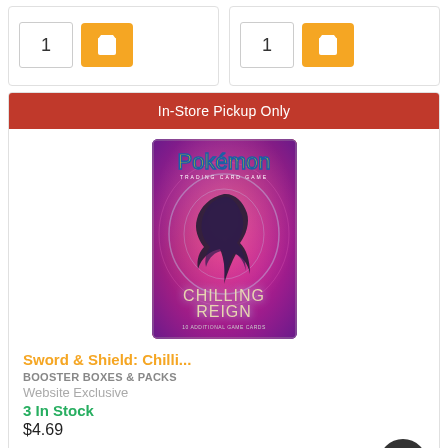[Figure (screenshot): Top portion of two product cards showing quantity input boxes (value: 1) and orange cart buttons]
[Figure (screenshot): Product card for Sword & Shield: Chilling Reign booster pack with red In-Store Pickup Only banner and Pokemon Chilling Reign booster pack image]
In-Store Pickup Only
Sword & Shield: Chilli...
BOOSTER BOXES & PACKS
Website Exclusive
3 In Stock
$4.69